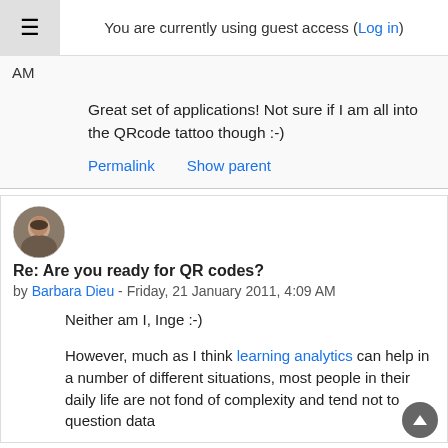You are currently using guest access (Log in)
AM
Great set of applications! Not sure if I am all into the QRcode tattoo though :-)
Permalink    Show parent
[Figure (photo): User avatar/profile photo, circular crop, showing a person's face]
Re: Are you ready for QR codes?
by Barbara Dieu - Friday, 21 January 2011, 4:09 AM
Neither am I, Inge :-)
However, much as I think learning analytics can help in a number of different situations, most people in their daily life are not fond of complexity and tend not to question data